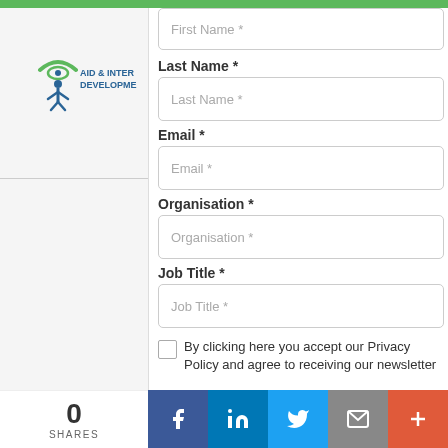[Figure (logo): Aid & International Development logo with a stylized person figure under a green arc, blue text reading AID & INTER... DEVELOP...]
First Name *
Last Name *
Email *
Organisation *
Job Title *
By clicking here you accept our Privacy Policy and agree to receiving our newsletter
By clicking submit you are consenting to our privacy policy and terms of use.
0
SHARES